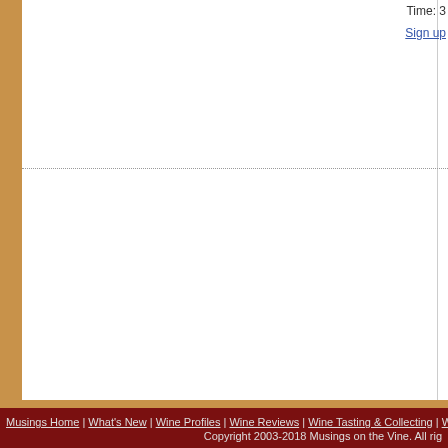Time: 3
Sign up
^ back to top
Musings Home | What's New | Wine Profiles | Wine Reviews | Wine Tasting & Collecting | Wine... Copyright 2003-2018 Musings on the Vine. All rig...